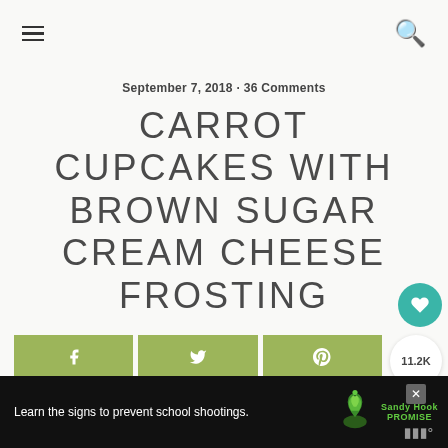≡   🔍
September 7, 2018 · 36 Comments
CARROT CUPCAKES WITH BROWN SUGAR CREAM CHEESE FROSTING
f  [Facebook share button]  [Twitter share button]  [Pinterest share button]  11.2K  [Heart button]  [Share button]
Jump to Recipe
[Figure (screenshot): Sandy Hook Promise advertisement banner: 'Learn the signs to prevent school shootings.' with tree logo and Sandy Hook Promise branding]